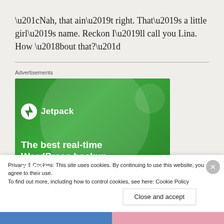“Nah, that ain’t right. That’s a little girl’s name. Reckon I’ll call you Lina. How ‘bout that?”
Advertisements
[Figure (screenshot): Jetpack advertisement banner on green background showing text 'The best real-time WordPress backup plugin']
Privacy & Cookies: This site uses cookies. By continuing to use this website, you agree to their use.
To find out more, including how to control cookies, see here: Cookie Policy
Close and accept